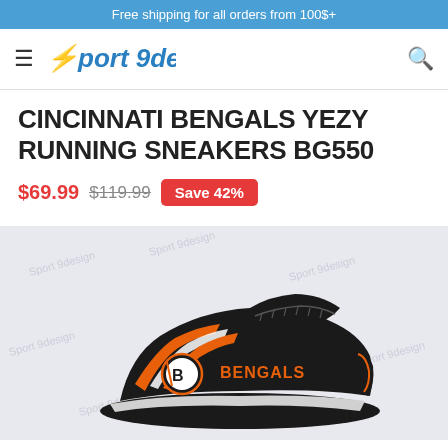Free shipping for all orders from 100$+
[Figure (logo): Sport9design logo with lightning bolt icon and italic text]
CINCINNATI BENGALS YEZY RUNNING SNEAKERS BG550
$69.99  $119.99  Save 42%
[Figure (photo): Cincinnati Bengals branded running sneakers (Yezy style) in black, orange and white with Bengals logo and text on the side]